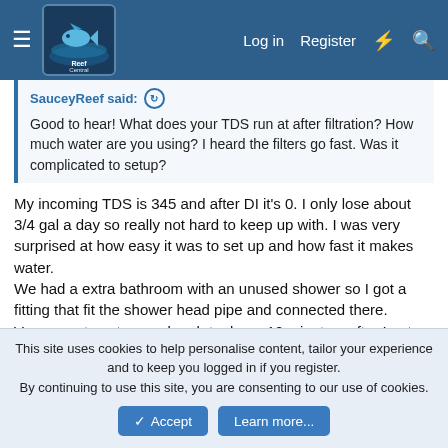Reef Central — Log in | Register
SauceyReef said: ↩
Good to hear! What does your TDS run at after filtration? How much water are you using? I heard the filters go fast. Was it complicated to setup?
My incoming TDS is 345 and after DI it's 0. I only lose about 3/4 gal a day so really not hard to keep up with. I was very surprised at how easy it was to set up and how fast it makes water.
We had a extra bathroom with an unused shower so I got a fitting that fit the shower head pipe and connected there.
Very easy to set up and prob took me 10 minutes, after I got the fitting from Amazon. Also Amazon has all the filters but I have not had mine long enough to see how long they last.
I would definitely recommend the unit for how much you're going
This site uses cookies to help personalise content, tailor your experience and to keep you logged in if you register.
By continuing to use this site, you are consenting to our use of cookies.
✓ Accept   Learn more...